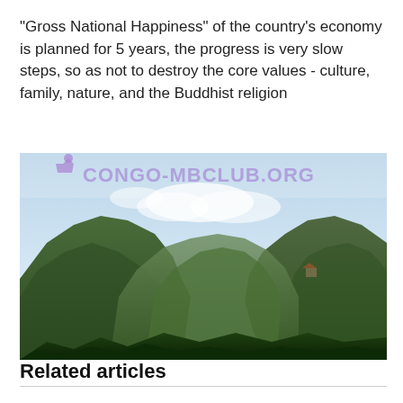"Gross National Happiness" of the country's economy is planned for 5 years, the progress is very slow steps, so as not to destroy the core values - culture, family, nature, and the Buddhist religion
[Figure (photo): Aerial landscape photograph of lush green mountain valleys with a blue sky and clouds, watermarked with 'CONGO-MBCLUB.ORG' in purple text with a small purple figure/logo in the upper left.]
Related articles